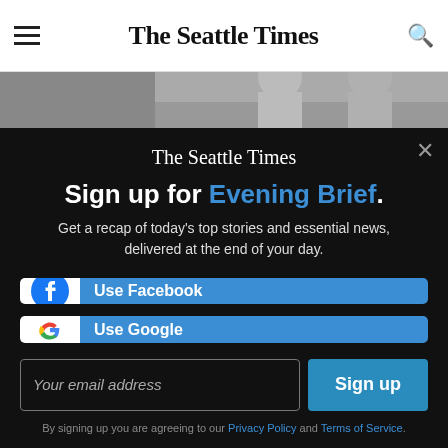The Seattle Times
[Figure (photo): Partial photo of people, cropped at top of modal]
Sign up for Evening Brief.
Get a recap of today's top stories and essential news, delivered at the end of your day.
Use Facebook
Use Google
Your email address
Sign up
By signing up you are agreeing to our Privacy Policy and Terms of Service.